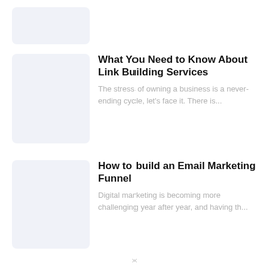[Figure (illustration): Light blue-gray placeholder thumbnail rectangle at the top of the page]
[Figure (illustration): Light blue-gray placeholder thumbnail for article: What You Need to Know About Link Building Services]
What You Need to Know About Link Building Services
The stress of owning a business is a never-ending cycle, let's face it. There is...
[Figure (illustration): Light blue-gray placeholder thumbnail for article: How to build an Email Marketing Funnel]
How to build an Email Marketing Funnel
Digital marketing is becoming more challenging year after year, and having th...
×